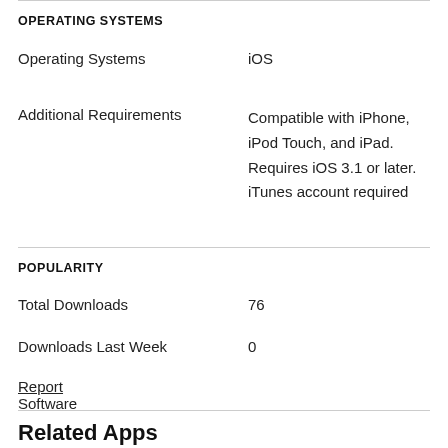OPERATING SYSTEMS
| Operating Systems | iOS |
| Additional Requirements | Compatible with iPhone, iPod Touch, and iPad. Requires iOS 3.1 or later. iTunes account required |
POPULARITY
| Total Downloads | 76 |
| Downloads Last Week | 0 |
Report Software
Related Apps